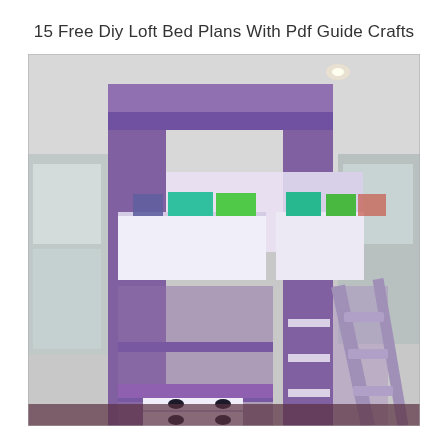15 Free Diy Loft Bed Plans With Pdf Guide Crafts
[Figure (photo): A purple-painted DIY loft bed with white panels and storage shelves, a built-in desk area with white drawers at the bottom, and a ladder on the right side. The photo is taken from a low angle inside a room with windows visible on the sides.]